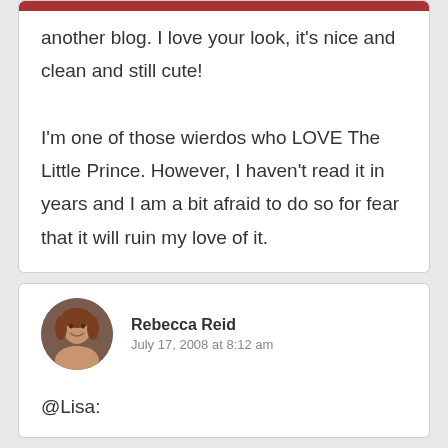Hi, I just found your blog from a comment on another blog. I love your look, it's nice and clean and still cute!

I'm one of those wierdos who LOVE The Little Prince. However, I haven't read it in years and I am a bit afraid to do so for fear that it will ruin my love of it.
Rebecca Reid
July 17, 2008 at 8:12 am
@Lisa: